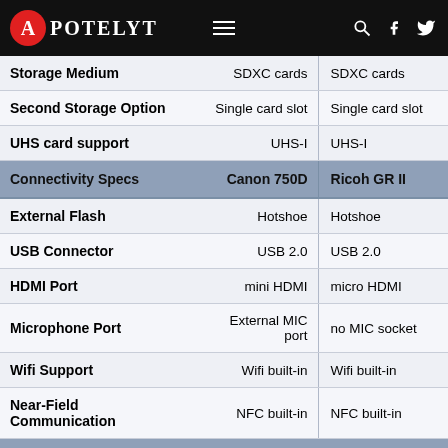APOTELYT
| Connectivity Specs | Canon 750D | Ricoh GR II |
| --- | --- | --- |
| Storage Medium | SDXC cards | SDXC cards |
| Second Storage Option | Single card slot | Single card slot |
| UHS card support | UHS-I | UHS-I |
| External Flash | Hotshoe | Hotshoe |
| USB Connector | USB 2.0 | USB 2.0 |
| HDMI Port | mini HDMI | micro HDMI |
| Microphone Port | External MIC port | no MIC socket |
| Wifi Support | Wifi built-in | Wifi built-in |
| Near-Field Communication | NFC built-in | NFC built-in |